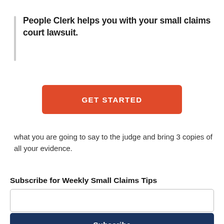People Clerk helps you with your small claims court lawsuit.
[Figure (other): Orange 'GET STARTED' call-to-action button]
what you are going to say to the judge and bring 3 copies of all your evidence.
Subscribe for Weekly Small Claims Tips
[Figure (other): Email input text field]
[Figure (other): Dark navy blue 'Subscribe' button]